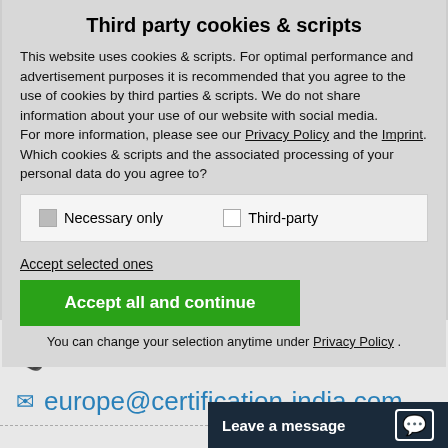Third party cookies & scripts
This website uses cookies & scripts. For optimal performance and advertisement purposes it is recommended that you agree to the use of cookies by third parties & scripts. We do not share information about your use of our website with social media.
For more information, please see our Privacy Policy and the Imprint.
Which cookies & scripts and the associated processing of your personal data do you agree to?
Necessary only   Third-party
Accept selected ones
Accept all and continue
You can change your selection anytime under Privacy Policy .
+49-69-2713769261
europe@certification-india.com
Leave a message